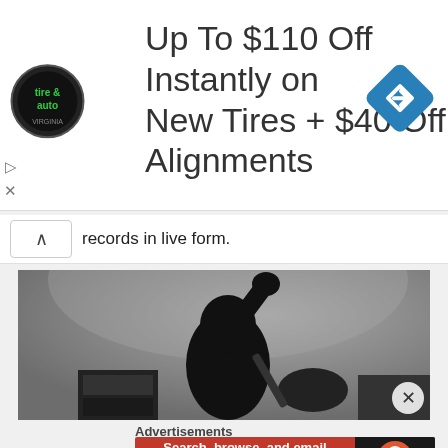[Figure (screenshot): Advertisement banner for tire and auto service: 'Up To $110 Off Instantly on New Tires + $40 Off Alignments' with tire & auto logo and blue navigation arrow icon]
records in live form.
[Figure (photo): Black and white photo of a hooded guitarist performing on stage, raising one hand, with guitar and amplifiers visible]
Advertisements
[Figure (screenshot): DuckDuckGo advertisement: 'Search, browse, and email with more privacy. All in One Free App' on red background with DuckDuckGo logo]